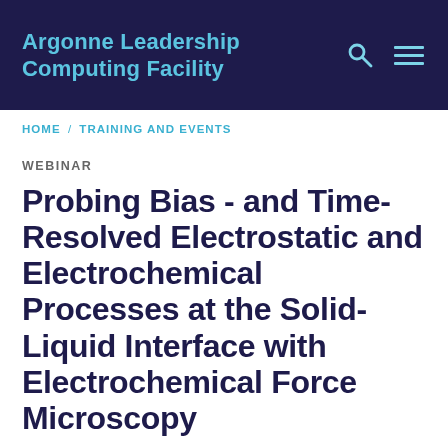Argonne Leadership Computing Facility
HOME / TRAINING AND EVENTS
WEBINAR
Probing Bias - and Time-Resolved Electrostatic and Electrochemical Processes at the Solid-Liquid Interface with Electrochemical Force Microscopy